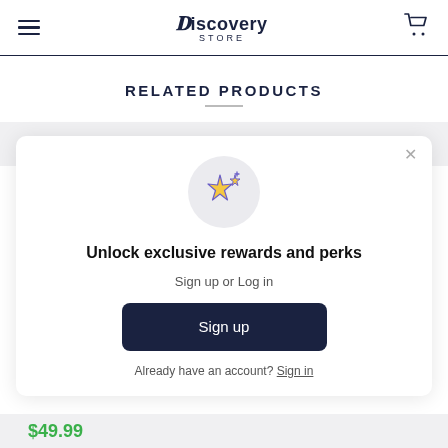Discovery Store
RELATED PRODUCTS
[Figure (infographic): Modal dialog with sparkle stars icon in a gray circle, heading 'Unlock exclusive rewards and perks', subtext 'Sign up or Log in', a dark navy Sign up button, and a 'Already have an account? Sign in' link. A close X button is in the top right.]
$49.99